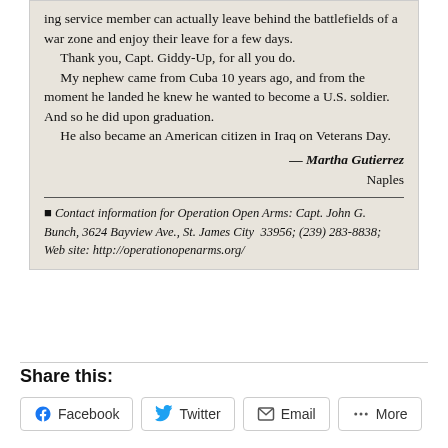[Figure (photo): Scanned newspaper clipping containing letter text attributed to Martha Gutierrez of Naples, and a contact information block for Operation Open Arms.]
ing service member can actually leave behind the battlefields of a war zone and enjoy their leave for a few days.

Thank you, Capt. Giddy-Up, for all you do.

My nephew came from Cuba 10 years ago, and from the moment he landed he knew he wanted to become a U.S. soldier. And so he did upon graduation.

He also became an American citizen in Iraq on Veterans Day.
— Martha Gutierrez
Naples
Contact information for Operation Open Arms: Capt. John G. Bunch, 3624 Bayview Ave., St. James City 33956; (239) 283-8838; Web site: http://operationopenarms.org/
Share this:
Facebook
Twitter
Email
More